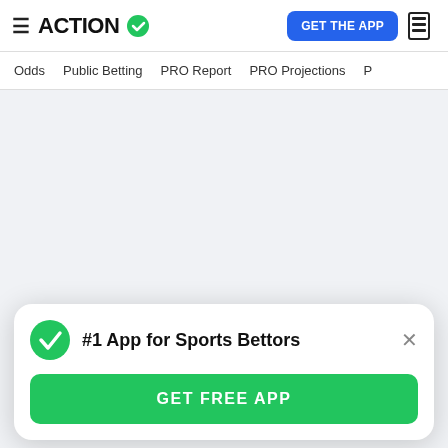ACTION (logo with checkmark) | GET THE APP
Odds | Public Betting | PRO Report | PRO Projections | P...
Green = full mobile betting
Orange = partial mobile betting
Red = physical sportsbooks only
#1 App for Sports Bettors
GET FREE APP